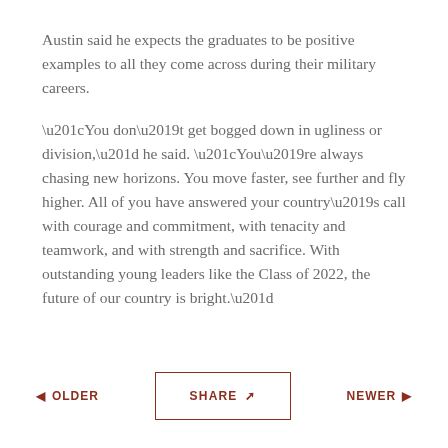Austin said he expects the graduates to be positive examples to all they come across during their military careers.
“You don’t get bogged down in ugliness or division,” he said. “You’re always chasing new horizons. You move faster, see further and fly higher. All of you have answered your country’s call with courage and commitment, with tenacity and teamwork, and with strength and sacrifice. With outstanding young leaders like the Class of 2022, the future of our country is bright.”
OLDER  SHARE  NEWER